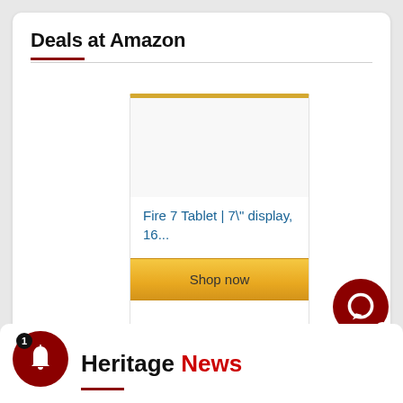Deals at Amazon
[Figure (screenshot): Amazon product widget showing Fire 7 Tablet with a 'Shop now' button styled with a gold/amber color scheme and dark red top border]
[Figure (other): Red circular chat bubble icon with green online indicator dot]
[Figure (other): Red circular bell notification icon with badge showing number 1]
Heritage News